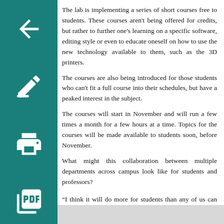The lab is implementing a series of short courses free to students. These courses aren't being offered for credits, but rather to further one's learning on a specific software, editing style or even to educate oneself on how to use the new technology available to them, such as the 3D printers.
The courses are also being introduced for those students who can't fit a full course into their schedules, but have a peaked interest in the subject.
The courses will start in November and will run a few times a month for a few hours at a time. Topics for the courses will be made available to students soon, before November.
What might this collaboration between multiple departments across campus look like for students and professors?
“I think it will do more for students than any of us can begin to imagine,” Mehler said. “There have already been connections forged among art, theatre, video production, and computer science. Once students from other departments find their way into the lab, we’ll really begin to see student-driven innovation.”